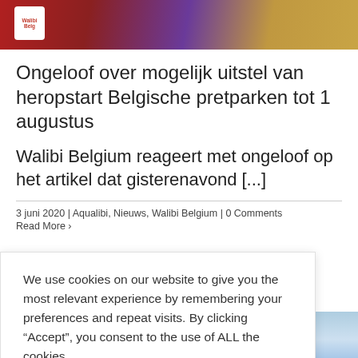[Figure (photo): Top portion of a webpage showing Walibi Belgium logo badge on colorful background (red, purple, tan)]
Ongeloof over mogelijk uitstel van heropstart Belgische pretparken tot 1 augustus
Walibi Belgium reageert met ongeloof op het artikel dat gisterenavond [...]
3 juni 2020 | Aqualibi, Nieuws, Walibi Belgium | 0 Comments
Read More >
We use cookies on our website to give you the most relevant experience by remembering your preferences and repeat visits. By clicking “Accept”, you consent to the use of ALL the cookies.
Cookie settings
ACCEPT
[Figure (photo): Partial view of blue sky, bottom right]
[Figure (photo): Partial view of rollercoaster ride, bottom left]